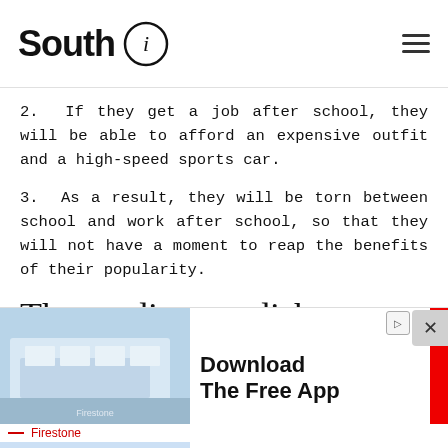South i
2.  If they get a job after school, they will be able to afford an expensive outfit and a high-speed sports car.
3.  As a result, they will be torn between school and work after school, so that they will not have a moment to reap the benefits of their popularity.
The dirty dishes dilemma
[Figure (other): Advertisement banner for Firestone showing a store building image and text 'Download The Free App']